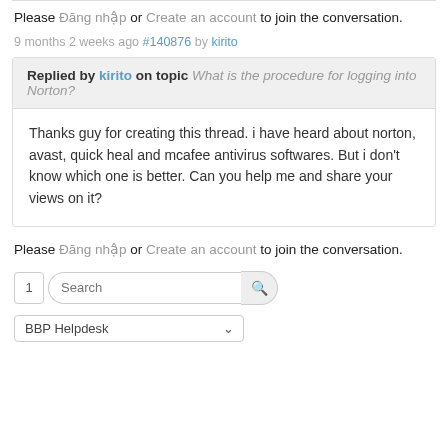Please Đăng nhập or Create an account to join the conversation.
9 months 2 weeks ago #140876 by kirito
Replied by kirito on topic What is the procedure for logging into Norton?
Thanks guy for creating this thread. i have heard about norton, avast, quick heal and mcafee antivirus softwares. But i don't know which one is better. Can you help me and share your views on it?
Please Đăng nhập or Create an account to join the conversation.